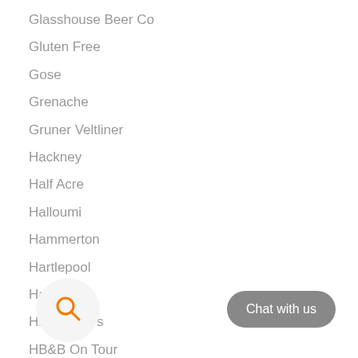Glasshouse Beer Co
Gluten Free
Gose
Grenache
Gruner Veltliner
Hackney
Half Acre
Halloumi
Hammerton
Hartlepool
Harvest
HB&B News
HB&B On Tour
HB&B Sub Club
H... e Share
HB...